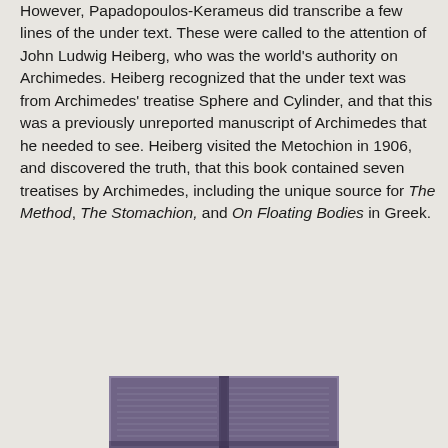However, Papadopoulos-Kerameus did transcribe a few lines of the under text. These were called to the attention of John Ludwig Heiberg, who was the world's authority on Archimedes. Heiberg recognized that the under text was from Archimedes' treatise Sphere and Cylinder, and that this was a previously unreported manuscript of Archimedes that he needed to see. Heiberg visited the Metochion in 1906, and discovered the truth, that this book contained seven treatises by Archimedes, including the unique source for The Method, The Stomachion, and On Floating Bodies in Greek.
[Figure (photo): A photograph of an ancient manuscript page showing old Greek text on aged parchment, appearing as a palimpsest.]